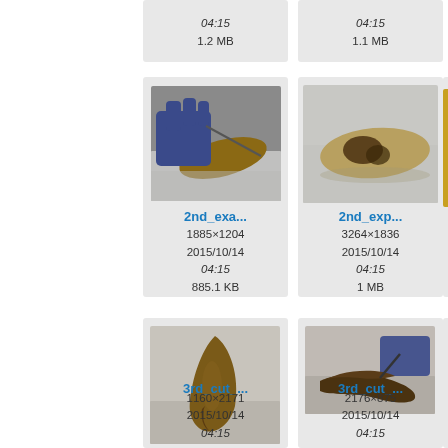[Figure (screenshot): File browser grid showing medical specimen photos. Top row partial cards showing metadata: 04:15 / 1.2 MB and 04:15 / 1.1 MB. Second row: '2nd_exa...' 1885×1204, 2015/10/14, 04:15, 885.1 KB; '2nd_exp...' 3264×1836, 2015/10/14, 04:15, 1 MB; third card partially visible. Third row: '3rd_cut_...' 1160×2171, 2015/10/14, 04:15; '3rd_cut_...' 2176×875, 2015/10/14, 04:15; third card partially visible.]